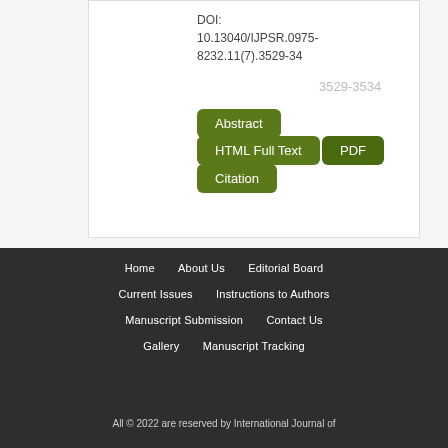DOI: 10.13040/IJPSR.0975-8232.11(7).3529-34
3529-3534
Abstract
HTML Full Text
PDF
Citation
Home   About Us   Editorial Board   Current Issues   Instructions to Authors   Manuscript Submission   Contact Us   Gallery   Manuscript Tracking   All © 2022 are reserved by International Journal of